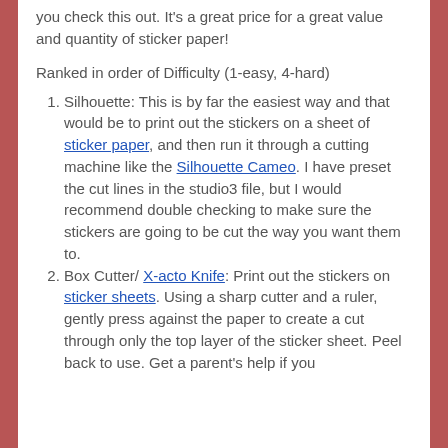you check this out. It's a great price for a great value and quantity of sticker paper!
Ranked in order of Difficulty (1-easy, 4-hard)
Silhouette: This is by far the easiest way and that would be to print out the stickers on a sheet of sticker paper, and then run it through a cutting machine like the Silhouette Cameo. I have preset the cut lines in the studio3 file, but I would recommend double checking to make sure the stickers are going to be cut the way you want them to.
Box Cutter/ X-acto Knife: Print out the stickers on sticker sheets. Using a sharp cutter and a ruler, gently press against the paper to create a cut through only the top layer of the sticker sheet. Peel back to use. Get a parent's help if you